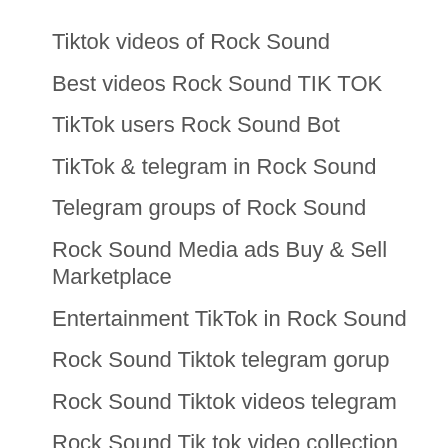Tiktok videos of Rock Sound
Best videos Rock Sound TIK TOK
TikTok users Rock Sound Bot
TikTok & telegram in Rock Sound
Telegram groups of Rock Sound
Rock Sound Media ads Buy & Sell Marketplace
Entertainment TikTok in Rock Sound
Rock Sound Tiktok telegram gorup
Rock Sound Tiktok videos telegram
Rock Sound Tik tok video collection